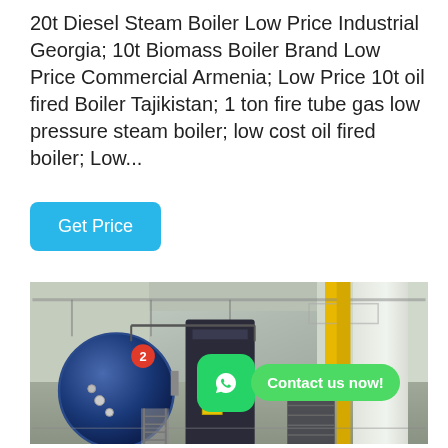20t Diesel Steam Boiler Low Price Industrial Georgia; 10t Biomass Boiler Brand Low Price Commercial Armenia; Low Price 10t oil fired Boiler Tajikistan; 1 ton fire tube gas low pressure steam boiler; low cost oil fired boiler; Low...
[Figure (other): Get Price button — blue rounded rectangle with white text]
[Figure (photo): Industrial boiler room with large blue cylindrical steam boiler (labeled 2), black boiler tower, yellow structural beam, white column on right, metal staircases. A WhatsApp icon and 'Contact us now!' green bubble overlay appear in the lower-right area of the photo.]